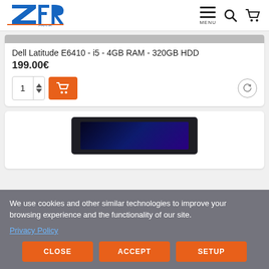[Figure (logo): ZFR Group Zervoudakis logo in blue and red]
[Figure (screenshot): Navigation icons: hamburger menu with MENU label, search icon, shopping cart icon]
Dell Latitude E6410 - i5 - 4GB RAM - 320GB HDD
199.00€
[Figure (screenshot): Quantity selector showing 1, add to cart orange button with cart icon, refresh/compare icon]
[Figure (photo): Laptop product image showing dark laptop with blue screen]
We use cookies and other similar technologies to improve your browsing experience and the functionality of our site.
Privacy Policy
CLOSE
ACCEPT
SETUP